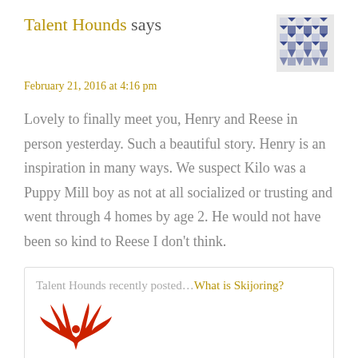Talent Hounds says
February 21, 2016 at 4:16 pm
Lovely to finally meet you, Henry and Reese in person yesterday. Such a beautiful story. Henry is an inspiration in many ways. We suspect Kilo was a Puppy Mill boy as not at all socialized or trusting and went through 4 homes by age 2. He would not have been so kind to Reese I don't think.
Talent Hounds recently posted…What is Skijoring?
[Figure (logo): Red phoenix/eagle logo with wings spread]
REPLY